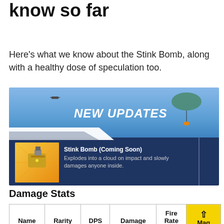know so far
Here's what we know about the Stink Bomb, along with a healthy dose of speculation too.
[Figure (screenshot): Fortnite game screenshot showing 'NEW UPDATES' banner with a Stink Bomb item (Coming Soon). Description reads: Explodes into a cloud on impact and slowly damages anyone inside. Blue sky background with parachuting character visible.]
Damage Stats
| Name | Rarity | DPS | Damage | Fire Rate | Mag |
| --- | --- | --- | --- | --- | --- |